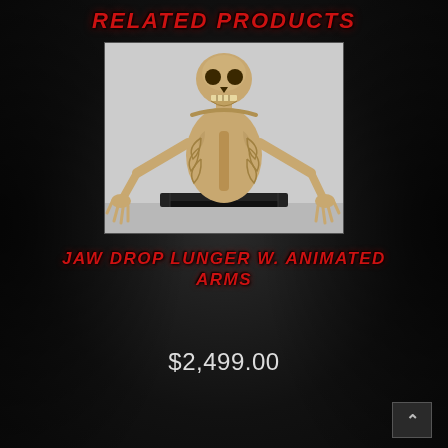RELATED PRODUCTS
[Figure (photo): Skeleton upper body figure with animated arms, mounted on a black platform stand, against a light grey background. The skeleton has a grinning skull, visible ribcage, and clawed hands reaching forward.]
JAW DROP LUNGER W. ANIMATED ARMS
$2,499.00